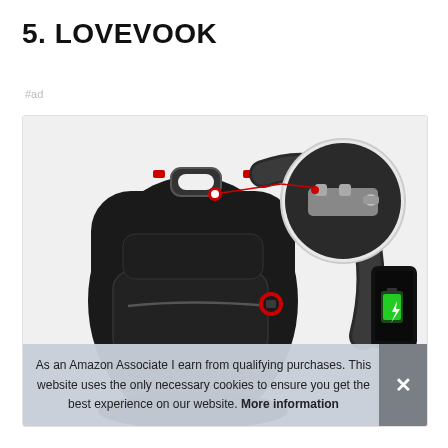5. LOVEVOOK
#ad
[Figure (photo): A black backpack with red zipper accents. The image shows the front of the backpack and a circular inset closeup showing a combination lock on the shoulder strap. A smartphone with a charging battery icon is visible on the right side.]
As an Amazon Associate I earn from qualifying purchases. This website uses the only necessary cookies to ensure you get the best experience on our website. More information